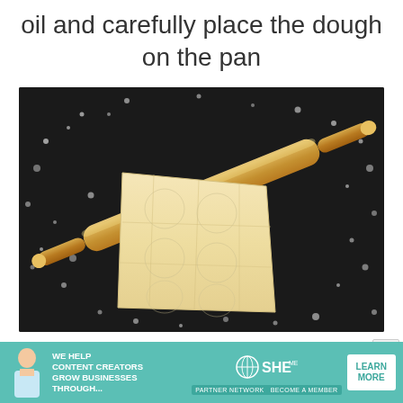oil and carefully place the dough on the pan
[Figure (photo): A rolling pin and a sheet of flat dough on a dark flour-dusted surface, viewed from above.]
[Figure (screenshot): Advertisement banner: SHE Media partner network ad with text 'We help content creators grow businesses through...' and a 'Learn More' button.]